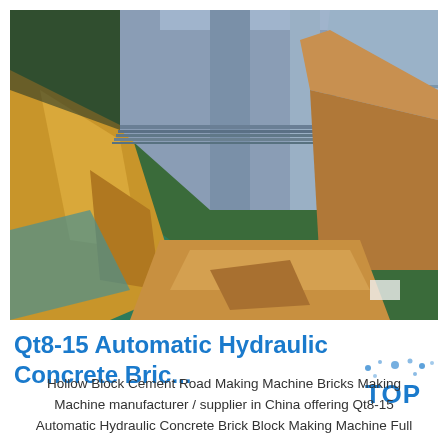[Figure (photo): Photo of steel/metal sheets stacked and wrapped in brown kraft paper/cardboard packaging with green tarp visible, stored in a warehouse or factory setting.]
Qt8-15 Automatic Hydraulic Concrete Bric...
Hollow Block Cement Road Making Machine Bricks Making Machine manufacturer / supplier in China offering Qt8-15 Automatic Hydraulic Concrete Brick Block Making Machine Full